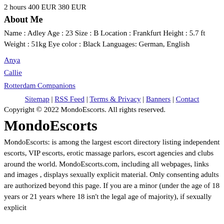2 hours 400 EUR 380 EUR
About Me
Name : Adley Age : 23 Size : B Location : Frankfurt Height : 5.7 ft Weight : 51kg Eye color : Black Languages: German, English
Anya
Callie
Rotterdam Companions
Sitemap | RSS Feed | Terms & Privacy | Banners | Contact
Copyright © 2022 MondoEscorts. All rights reserved.
MondoEscorts
MondoEscorts: is among the largest escort directory listing independent escorts, VIP escorts, erotic massage parlors, escort agencies and clubs around the world. MondoEscorts.com, including all webpages, links and images , displays sexually explicit material. Only consenting adults are authorized beyond this page. If you are a minor (under the age of 18 years or 21 years where 18 isn't the legal age of majority), if sexually explicit